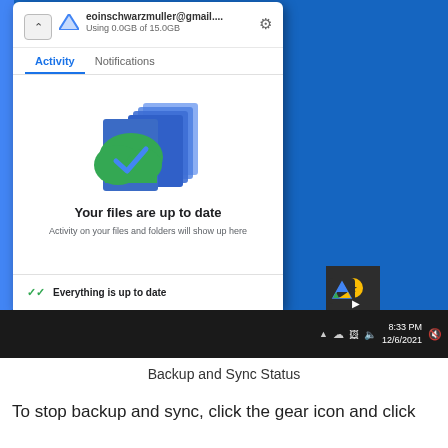[Figure (screenshot): Screenshot of Google Drive Backup and Sync status popup on a Windows desktop, showing Activity tab with 'Your files are up to date' message and Google Drive icon in taskbar. Time shows 8:33 PM 12/6/2021.]
Backup and Sync Status
To stop backup and sync, click the gear icon and click